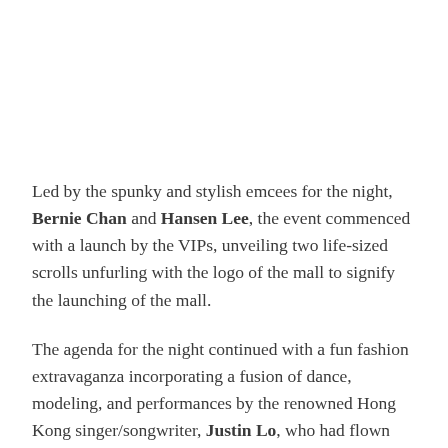Led by the spunky and stylish emcees for the night, Bernie Chan and Hansen Lee, the event commenced with a launch by the VIPs, unveiling two life-sized scrolls unfurling with the logo of the mall to signify the launching of the mall.
The agenda for the night continued with a fun fashion extravaganza incorporating a fusion of dance, modeling, and performances by the renowned Hong Kong singer/songwriter, Justin Lo, who had flown down to Malaysia to make this special appearance.